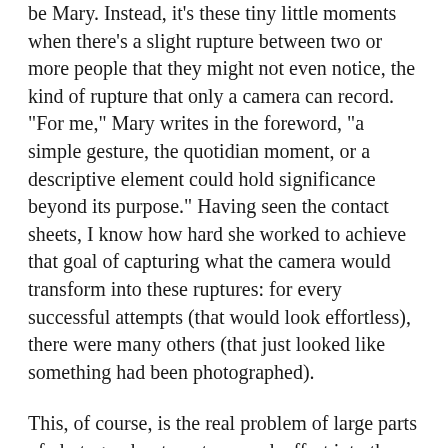be Mary. Instead, it’s these tiny little moments when there’s a slight rupture between two or more people that they might not even notice, the kind of rupture that only a camera can record. “For me,” Mary writes in the foreword, “a simple gesture, the quotidian moment, or a descriptive element could hold significance beyond its purpose.” Having seen the contact sheets, I know how hard she worked to achieve that goal of capturing what the camera would transform into these ruptures: for every successful attempts (that would look effortless), there were many others (that just looked like something had been photographed).
This, of course, is the real problem of large parts of photography: to put so much effort into the pictures that they don’t betray any of that. To do that with people in or outside of their homes, using a 4×5 camera and a flash — that takes some real skill and dedication.